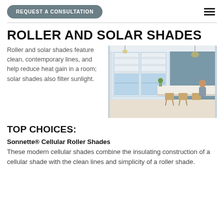REQUEST A CONSULTATION
ROLLER AND SOLAR SHADES
Roller and solar shades feature clean, contemporary lines, and help reduce heat gain in a room; solar shades also filter sunlight.
[Figure (photo): Interior room with large windows fitted with white roller shades, a kitchen bar area with rattan stools, and a woman seated at the counter, ocean view in background]
TOP CHOICES:
Sonnette® Cellular Roller Shades
These modern cellular shades combine the insulating construction of a cellular shade with the clean lines and simplicity of a roller shade.